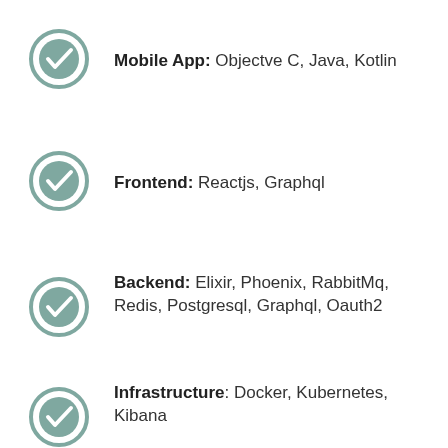Mobile App: Objectve C, Java, Kotlin
Frontend: Reactjs, Graphql
Backend: Elixir, Phoenix, RabbitMq, Redis, Postgresql, Graphql, Oauth2
Infrastructure: Docker, Kubernetes, Kibana